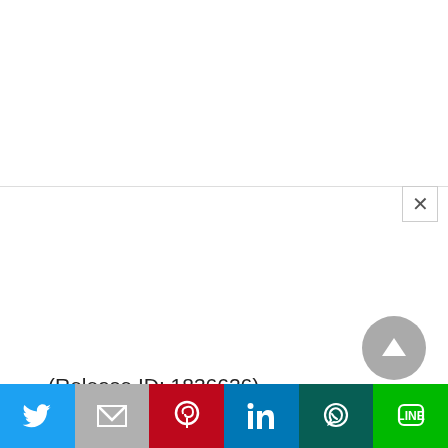(Release ID: 1836626)
Visitor Counter : 236
[Figure (screenshot): Social share bar at the bottom with Twitter, Gmail, Pinterest, LinkedIn, WhatsApp, and LINE buttons. A close (X) button and a scroll-to-top arrow button are also visible.]